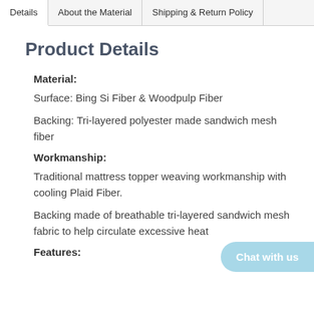Details | About the Material | Shipping & Return Policy
Product Details
Material:
Surface: Bing Si Fiber & Woodpulp Fiber
Backing: Tri-layered polyester made sandwich mesh fiber
Workmanship:
Traditional mattress topper weaving workmanship with cooling Plaid Fiber.
Backing made of breathable tri-layered sandwich mesh fabric to help circulate excessive heat
Features: